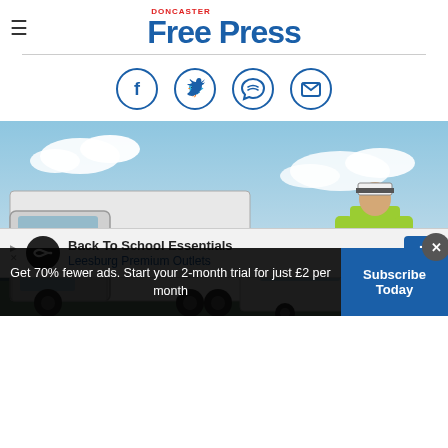Doncaster Free Press
[Figure (logo): Doncaster Free Press logo with red 'Doncaster' text above large blue 'Free Press' masthead]
[Figure (infographic): Four circular social media share icons: Facebook, Twitter, WhatsApp, Email — blue outline circles]
[Figure (photo): A DAF white lorry/truck parked next to a police car, with a traffic police officer in a high-visibility yellow jacket standing beside it against a cloudy blue sky background]
[Figure (other): Advertisement banner: Back To School Essentials - Leesburg Premium Outlets, with navigation arrow icon]
Get 70% fewer ads. Start your 2-month trial for just £2 per month
Subscribe Today